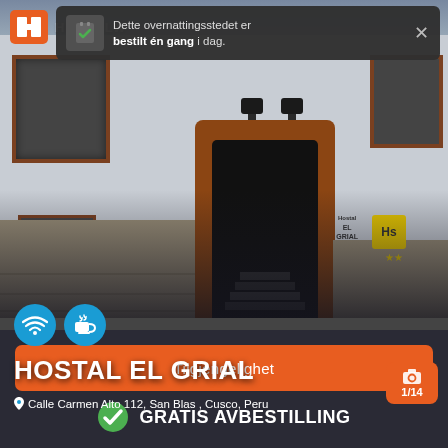[Figure (photo): Exterior photo of Hostal El Grial, a white colonial building in Cusco, Peru with a stone doorway, barred windows, and a street lantern]
HOSTELWORLD
Dette overnattingsstedet er bestilt én gang i dag.
HOSTAL EL GRIAL
Calle Carmen Alto 112, San Blas , Cusco, Peru
1/14
Tilgjengelighet
GRATIS AVBESTILLING